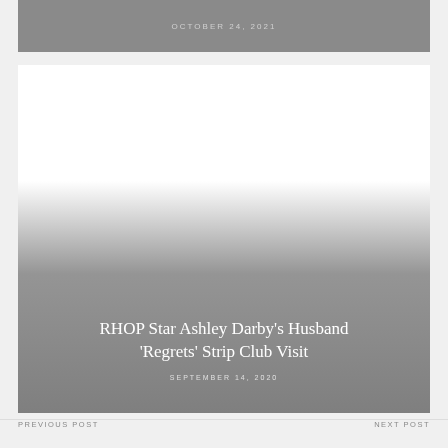OCTOBER 24, 2021
[Figure (photo): Article card with gradient overlay showing article title and date on gray background]
RHOP Star Ashley Darby's Husband 'Regrets' Strip Club Visit
SEPTEMBER 14, 2020
PREVIOUS POST    NEXT POST